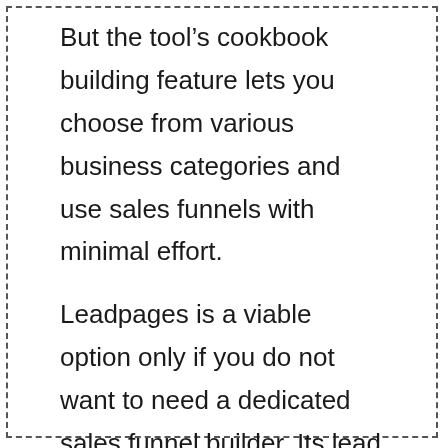But the tool's cookbook building feature lets you choose from various business categories and use sales funnels with minimal effort.
Leadpages is a viable option only if you do not want to need a dedicated sales funnel builder. Its lead boxes feature can help you generate more leads. But it does not compare well to the